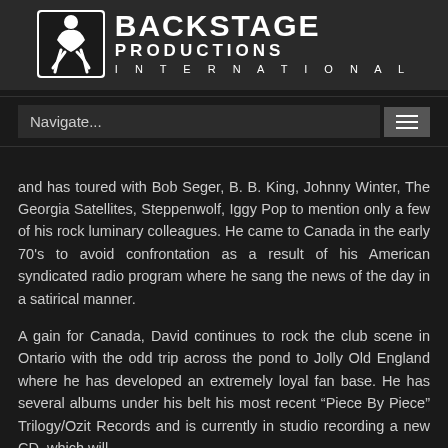[Figure (logo): Backstage Productions International logo with stylized performer icon and bold text]
Navigate...
and has toured with Bob Seger, B. B. King, Johnny Winter, The Georgia Satellites, Steppenwolf, Iggy Pop to mention only a few of his rock luminary colleagues. He came to Canada in the early 70's to avoid confrontation as a result of his American syndicated radio program where he sang the news of the day in a satirical manner.
A gain for Canada, David continues to rock the club scene in Ontario with the odd trip across the pond to Jolly Old England where he has developed an extremely loyal fan base. He has several albums under his belt his most recent “Piece By Piece” Trilogy/Ozit Records and is currently in studio recording a new CD, which will